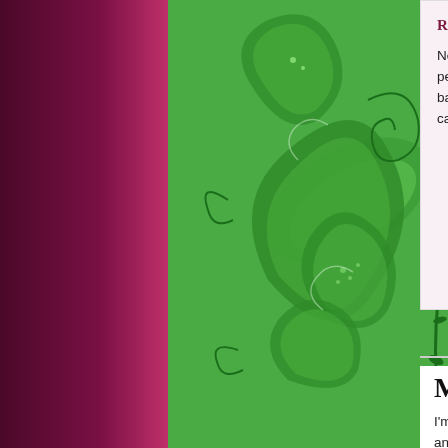[Figure (illustration): Green paisley fabric pattern on left side of page]
Robin says,
Note how Adrian and I b... peer fearlessly into the c... barrel of Doc Searls' camera.
Mashup Camp
I'm at Mashup Camp. Gettin... and the fine art of screen-sc... about... Ning. Then, who kn...